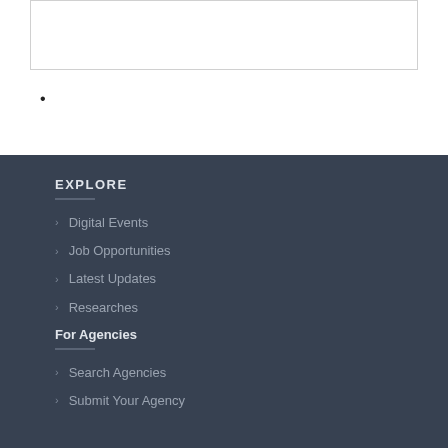EXPLORE
Digital Events
Job Opportunities
Latest Updates
Researches
For Agencies
Search Agencies
Submit Your Agency